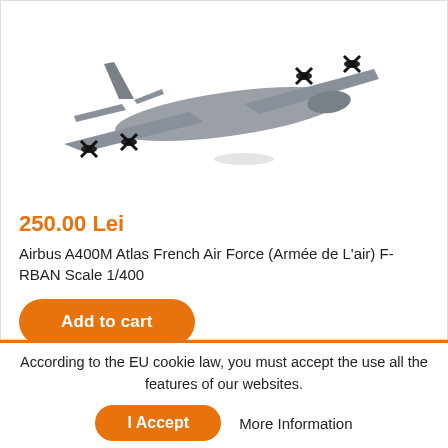[Figure (photo): Scale model of Airbus A400M Atlas military transport aircraft in grey color, viewed from above-front angle, showing four propeller engines and distinctive high-wing configuration]
250.00 Lei
Airbus A400M Atlas French Air Force (Armée de L'air) F-RBAN Scale 1/400
Add to cart
According to the EU cookie law, you must accept the use all the features of our websites.
I Accept
More Information